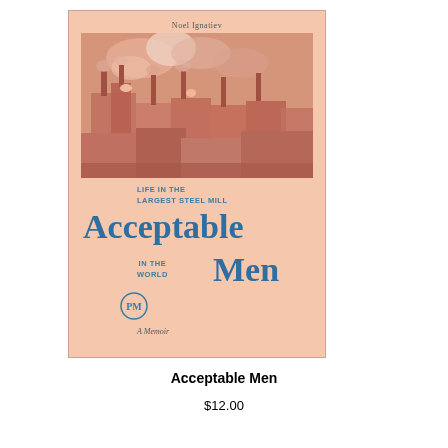[Figure (photo): Book cover of 'Acceptable Men' by Noel Ignatiev. Salmon/peach background with an aerial photo of a large steel mill at the top. Title in large blue serif font reads 'Acceptable Men' with subtitle text 'Life in the Largest Steel Mill in the World' and 'A Memoir' below. Publisher logo visible.]
Acceptable Men
$12.00